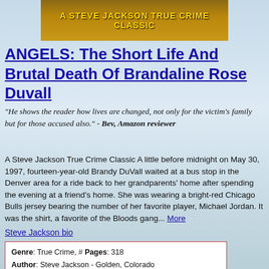[Figure (illustration): Book cover banner with golden/brown background and text 'A STEVE JACKSON TRUE CRIME CLASSIC' in yellow bold letters]
ANGELS: The Short Life And Brutal Death Of Brandaline Rose Duvall
"He shows the reader how lives are changed, not only for the victim's family but for those accused also." - Bev, Amazon reviewer
A Steve Jackson True Crime Classic A little before midnight on May 30, 1997, fourteen-year-old Brandy DuVall waited at a bus stop in the Denver area for a ride back to her grandparents' home after spending the evening at a friend's home. She was wearing a bright-red Chicago Bulls jersey bearing the number of her favorite player, Michael Jordan. It was the shirt, a favorite of the Bloods gang... More
Steve Jackson bio
| Genre: True Crime, # Pages: 318 |
| Author: Steve Jackson - Golden, Colorado |
| Pub Date: July 21, 2020 |
| Title History: WildBlue Press, 2020 |